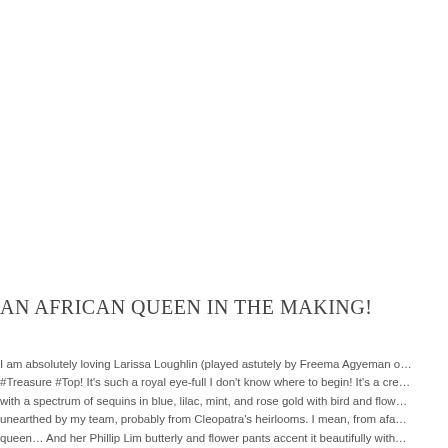[Figure (photo): Large image area at the top of the page (image content not visible in this crop)]
AN AFRICAN QUEEN IN THE MAKING!
I am absolutely loving Larissa Loughlin (played astutely by Freema Agyeman o… #Treasure #Top! It's such a royal eye-full I don't know where to begin! It's a cre… with a spectrum of sequins in blue, lilac, mint, and rose gold with bird and flow… unearthed by my team, probably from Cleopatra's heirlooms. I mean, from afa… queen… And her Phillip Lim butterly and flower pants accent it beautifully with… periwinkle, violet and plum!